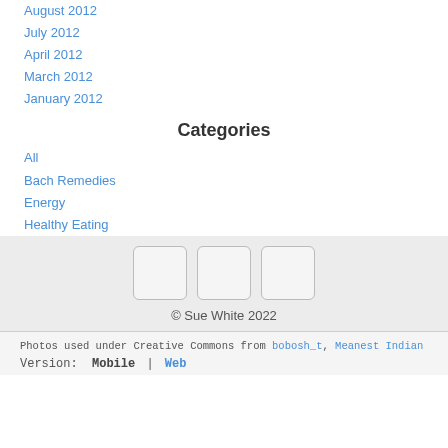August 2012
July 2012
April 2012
March 2012
January 2012
Categories
All
Bach Remedies
Energy
Healthy Eating
[Figure (other): Three social media icon placeholder boxes]
© Sue White 2022
Photos used under Creative Commons from bobosh_t, Meanest Indian
Version: Mobile | Web